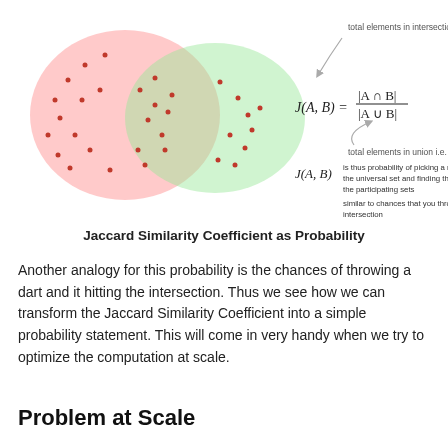[Figure (infographic): Venn diagram showing two overlapping circles (red/pink on left, green on right) with red dot elements scattered across both circles and the intersection. To the right, the Jaccard similarity formula J(A,B) = |A∩B|/|A∪B| is shown with annotations: 'total elements in intersection' pointing to numerator, 'total elements in union i.e. Universal Set' pointing to denominator. Below the formula, J(A,B) is described as 'is thus probability of picking a random element from the universal set and finding that it is present in both the participating sets', followed by 'similar to chances that you throw a dart and it hits the intersection'.]
Jaccard Similarity Coefficient as Probability
Another analogy for this probability is the chances of throwing a dart and it hitting the intersection. Thus we see how we can transform the Jaccard Similarity Coefficient into a simple probability statement. This will come in very handy when we try to optimize the computation at scale.
Problem at Scale